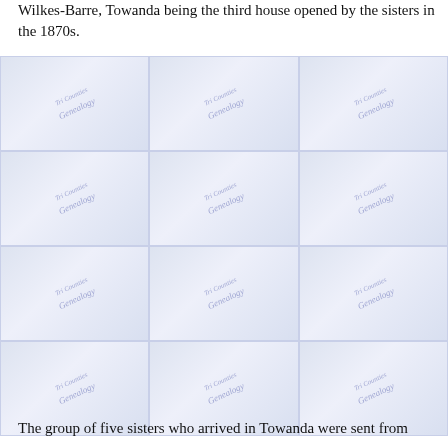Wilkes-Barre, Towanda being the third house opened by the sisters in the 1870s.
[Figure (illustration): A 4x3 grid of watermarked image cells, each containing a light blue-purple gradient background with a diagonal 'Tri Counties Genealogy' watermark text repeated across the grid.]
The group of five sisters who arrived in Towanda were sent from